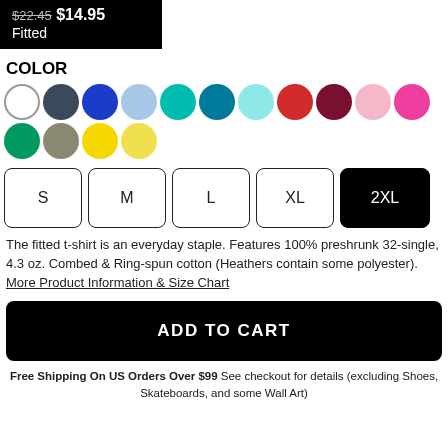$22.45 $14.95 Fitted
COLOR
[Figure (infographic): Color swatches: white, dark navy, royal blue, light blue, teal, dark teal, light cyan, red, dark red/maroon, pink, hot pink, green, olive/grey, yellow, light yellow]
[Figure (infographic): Size selector buttons: S, M, L, XL, 2XL (2XL selected/highlighted in black)]
The fitted t-shirt is an everyday staple. Features 100% preshrunk 32-single, 4.3 oz. Combed & Ring-spun cotton (Heathers contain some polyester). More Product Information & Size Chart
ADD TO CART
Free Shipping On US Orders Over $99 See checkout for details (excluding Shoes, Skateboards, and some Wall Art)